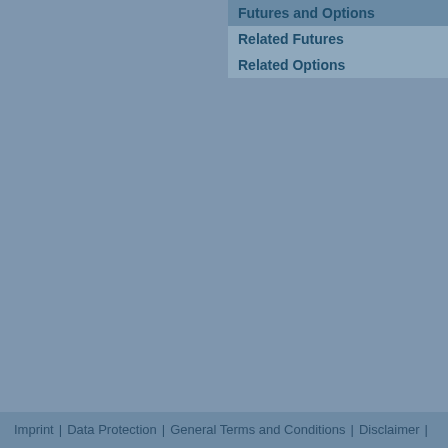Futures and Options
Related Futures
Related Options
Imprint | Data Protection | General Terms and Conditions | Disclaimer |